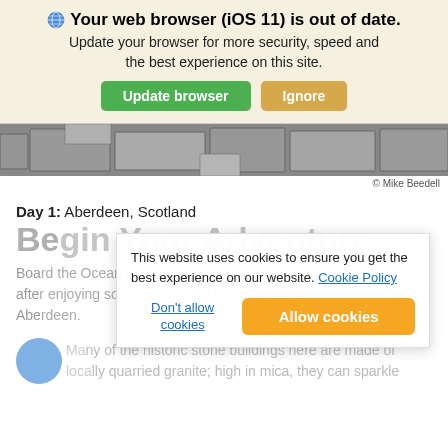Your web browser (iOS 11) is out of date. Update your browser for more security, speed and the best experience on this site.
[Figure (screenshot): Browser update notification banner with Update browser (green) and Ignore (tan) buttons]
[Figure (photo): Partial photo of historic stone pavement/cobblestones]
© Mike Beedell
Day 1: Aberdeen, Scotland
Begin Your Adventure
Board the Ocean Endeavour for an evening departure after enjoying some self-guided exploration in Aberdeen.
This website uses cookies to ensure you get the best experience on our website. Cookie Policy
Don't allow cookies
Allow cookies
Many of the historic stone buildings here are made of locally quarried granite; high in mica, they can sparkle